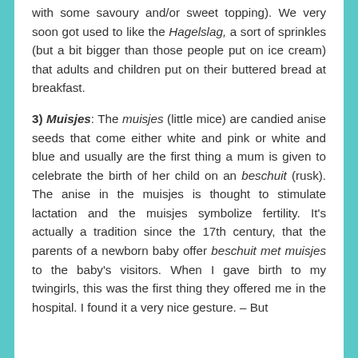with some savoury and/or sweet topping). We very soon got used to like the Hagelslag, a sort of sprinkles (but a bit bigger than those people put on ice cream) that adults and children put on their buttered bread at breakfast.
3) Muisjes: The muisjes (little mice) are candied anise seeds that come either white and pink or white and blue and usually are the first thing a mum is given to celebrate the birth of her child on an beschuit (rusk). The anise in the muisjes is thought to stimulate lactation and the muisjes symbolize fertility. It's actually a tradition since the 17th century, that the parents of a newborn baby offer beschuit met muisjes to the baby's visitors. When I gave birth to my twingirls, this was the first thing they offered me in the hospital. I found it a very nice gesture. – But